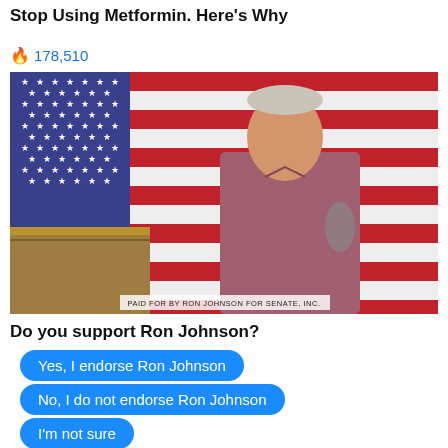Stop Using Metformin. Here's Why
🔥 178,510
[Figure (photo): A man in a pink/mauve button-up shirt stands at a wooden podium in front of an American flag, speaking into a microphone. Caption reads: PAID FOR BY RON JOHNSON FOR SENATE, INC.]
PAID FOR BY RON JOHNSON FOR SENATE, INC.
Do you support Ron Johnson?
Yes, I endorse Ron Johnson
No, I do not endorse Ron Johnson
I'm not sure
916 Votes